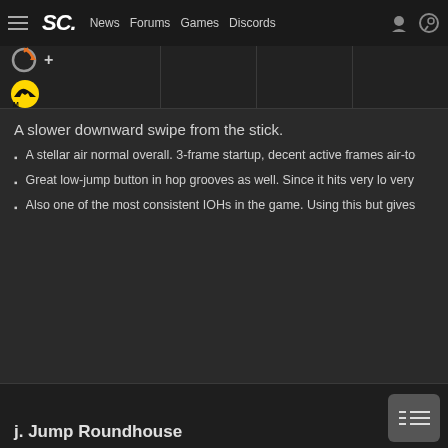SC. News Forums Games Discords
[Figure (screenshot): Game move icons: circular arrow with plus sign, and a yellow/black MK icon]
A slower downward swipe from the stick.
A stellar air normal overall. 3-frame startup, decent active frames air-to-air and a jump-in. As an air-to-air, it has great disjoint and u the opponent's aerial move as it has 3 frames of startup, and as a usually carries that hitstun into a combo starter.
Great low-jump button in hop grooves as well. Since it hits very lo very hard to react to when he uses low jump j.MK in conjunction 2MK. The threat of that high-low mixup can definitely be effective
Also one of the most consistent IOHs in the game. Using this but gives Eagle another dimension of mixup, even if the returns on hit can be scary if the round is coming to a close and the opponent is Easier to land in hop grooves but can still be done in non-hop gro
j. Jump Roundhouse